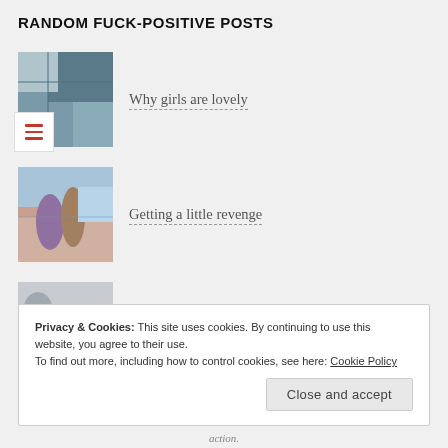RANDOM FUCK-POSITIVE POSTS
Why girls are lovely
Getting a little revenge
Yule log (chocolate) and a blow job (sloppy)
Privacy & Cookies: This site uses cookies. By continuing to use this website, you agree to their use.
To find out more, including how to control cookies, see here: Cookie Policy
Close and accept
action.